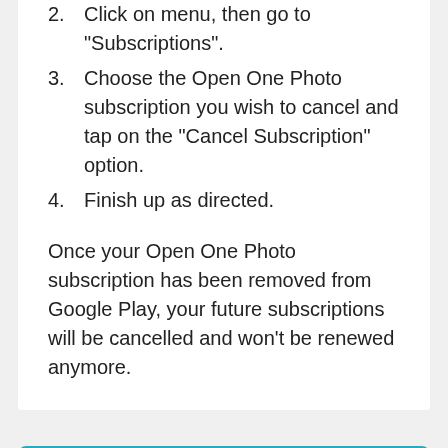2. Click on menu, then go to "Subscriptions".
3. Choose the Open One Photo subscription you wish to cancel and tap on the "Cancel Subscription" option.
4. Finish up as directed.
Once your Open One Photo subscription has been removed from Google Play, your future subscriptions will be cancelled and won't be renewed anymore.
✋ End Ridiculous Charges!!!
STOP apps from taking your money